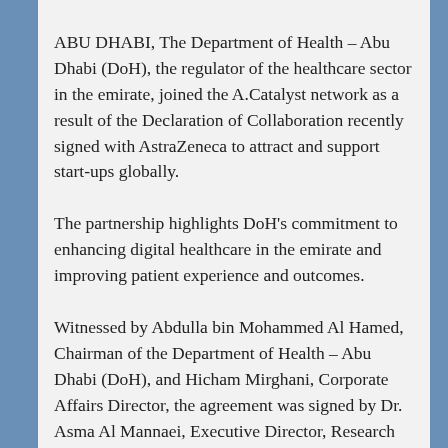ABU DHABI, The Department of Health – Abu Dhabi (DoH), the regulator of the healthcare sector in the emirate, joined the A.Catalyst network as a result of the Declaration of Collaboration recently signed with AstraZeneca to attract and support start-ups globally.
The partnership highlights DoH's commitment to enhancing digital healthcare in the emirate and improving patient experience and outcomes.
Witnessed by Abdulla bin Mohammed Al Hamed, Chairman of the Department of Health – Abu Dhabi (DoH), and Hicham Mirghani, Corporate Affairs Director, the agreement was signed by Dr. Asma Al Mannaei, Executive Director, Research…